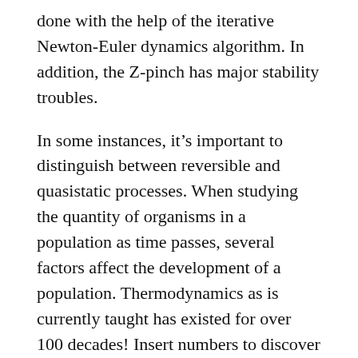done with the help of the iterative Newton-Euler dynamics algorithm. In addition, the Z-pinch has major stability troubles.
In some instances, it’s important to distinguish between reversible and quasistatic processes. When studying the quantity of organisms in a population as time passes, several factors affect the development of a population. Thermodynamics as is currently taught has existed for over 100 decades! Insert numbers to discover the last answer.
As efforts to boost storage density continue, the magnitude of a data element shrinks. With a great number of slits, the peaks are extremely